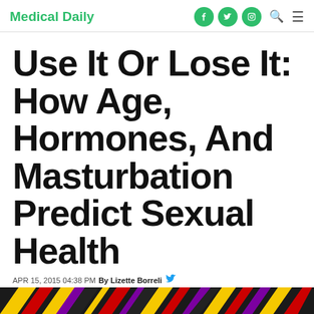Medical Daily
Use It Or Lose It: How Age, Hormones, And Masturbation Predict Sexual Health
APR 15, 2015 04:38 PM By Lizette Borreli
l.borreli@medicaldaily.com
[Figure (photo): Colorful striped image at the bottom of the page with yellow, red, purple and black diagonal stripes]